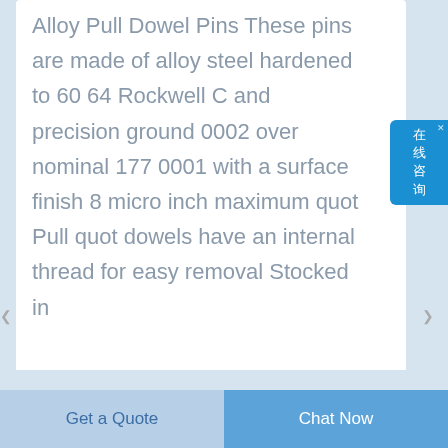Alloy Pull Dowel Pins These pins are made of alloy steel hardened to 60 64 Rockwell C and precision ground 0002 over nominal 177 0001 with a surface finish 8 micro inch maximum quot Pull quot dowels have an internal thread for easy removal Stocked in
[Figure (other): Blue chat widget button on right side with Chinese characters meaning 'online consultation' (在线咨询)]
[Figure (other): Partial view of two circular product images at the bottom of the page — one dark blue and one bright blue]
Get a Quote
Chat Now